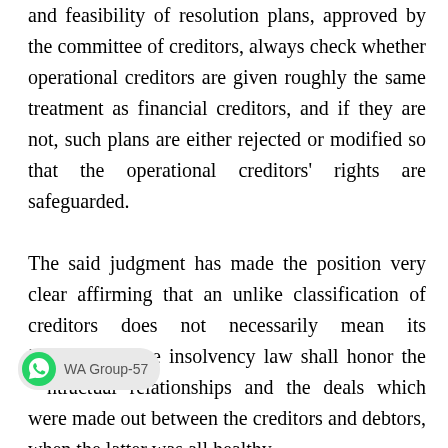Adjudicating Authority, while testing the validity and feasibility of resolution plans, approved by the committee of creditors, always check whether operational creditors are given roughly the same treatment as financial creditors, and if they are not, such plans are either rejected or modified so that the operational creditors' rights are safeguarded.
The said judgment has made the position very clear affirming that an unlike classification of creditors does not necessarily mean its inequitable. The insolvency law shall honor the contractual relationships and the deals which were made out between the creditors and debtors, when the latter was all healthy.